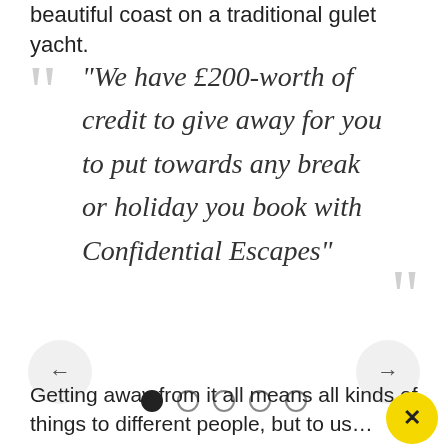beautiful coast on a traditional gulet yacht.
“We have £200-worth of credit to give away for you to put towards any break or holiday you book with Confidential Escapes”
Getting away from it all means all kinds of things to different people, but to us…